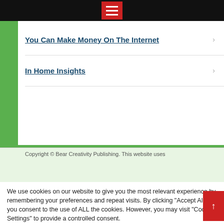[Figure (screenshot): Red hamburger menu button on black top bar]
You Can Make Money On The Internet
In Home Insights
Copyright © Bear Creativity Publishing. This website uses
We use cookies on our website to give you the most relevant experience by remembering your preferences and repeat visits. By clicking "Accept All", you consent to the use of ALL the cookies. However, you may visit "Cookie Settings" to provide a controlled consent.
Cookie Settings  Accept All